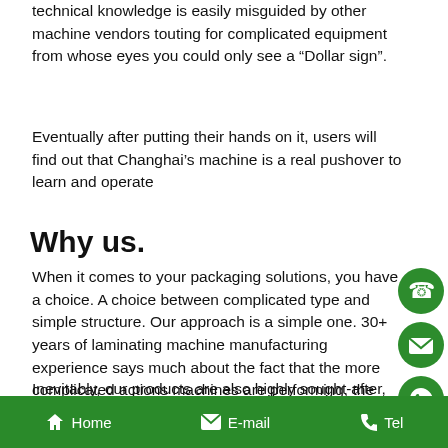technical knowledge is easily misguided by other machine vendors touting for complicated equipment from whose eyes you could only see a “Dollar sign”.
Eventually after putting their hands on it, users will find out that Changhai’s machine is a real pushover to learn and operate
Why us.
When it comes to your packaging solutions, you have a choice. A choice between complicated type and simple structure. Our approach is a simple one. 30+ years of laminating machine manufacturing experience says much about the fact that the more complicated actions machines are performing, the higher possibility there will be for mechanical errors find their way.
Inevitably, our products are also highly sought-after, especially by experienced players who are fed up w
Home   E-mail   Tel